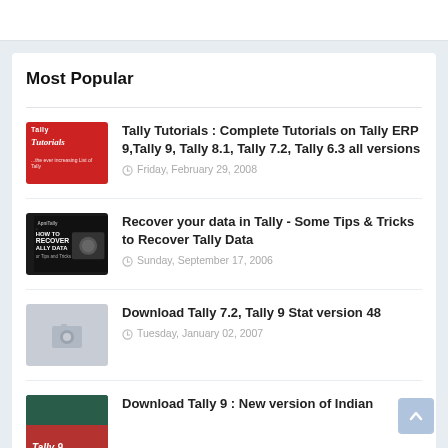Most Popular
[Figure (photo): Red thumbnail image with 'Tally Tutorials' text]
Tally Tutorials : Complete Tutorials on Tally ERP 9,Tally 9, Tally 8.1, Tally 7.2, Tally 6.3 all versions
Friday, February 29, 2008
[Figure (photo): Dark thumbnail with recover tally data image]
Recover your data in Tally - Some Tips & Tricks to Recover Tally Data
Sunday, September 17, 2006
[Figure (photo): Grey placeholder photo thumbnail]
Download Tally 7.2, Tally 9 Stat version 48
Tuesday, January 02, 2007
[Figure (photo): Teal/dark thumbnail for Tally 9 article]
Download Tally 9 : New version of Indian